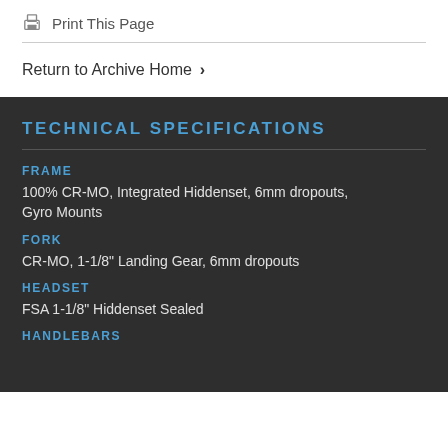Print This Page
Return to Archive Home ›
TECHNICAL SPECIFICATIONS
FRAME
100% CR-MO, Integrated Hiddenset, 6mm dropouts, Gyro Mounts
FORK
CR-MO, 1-1/8" Landing Gear, 6mm dropouts
HEADSET
FSA 1-1/8" Hiddenset Sealed
HANDLEBARS